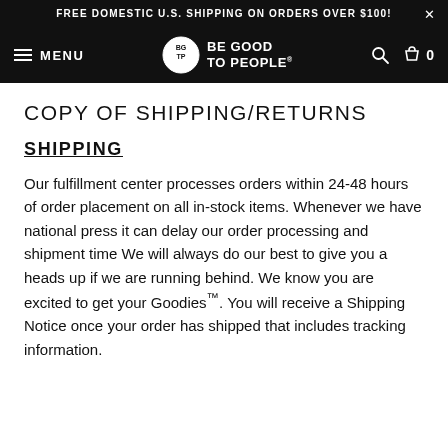FREE DOMESTIC U.S. SHIPPING ON ORDERS OVER $100!
[Figure (logo): Be Good To People brand logo with hamburger menu and navigation bar]
COPY OF SHIPPING/RETURNS
SHIPPING
Our fulfillment center processes orders within 24-48 hours of order placement on all in-stock items. Whenever we have national press it can delay our order processing and shipment time We will always do our best to give you a heads up if we are running behind. We know you are excited to get your Goodies™. You will receive a Shipping Notice once your order has shipped that includes tracking information.